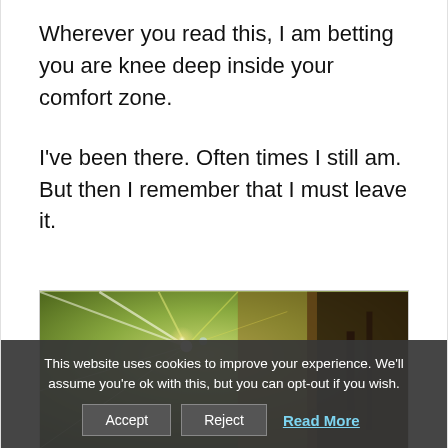Wherever you read this, I am betting you are knee deep inside your comfort zone.
I've been there. Often times I still am. But then I remember that I must leave it.
[Figure (photo): A blurred photograph with green wall background and light rays or flare effect, partially visible interior scene.]
This website uses cookies to improve your experience. We'll assume you're ok with this, but you can opt-out if you wish. Accept Reject Read More